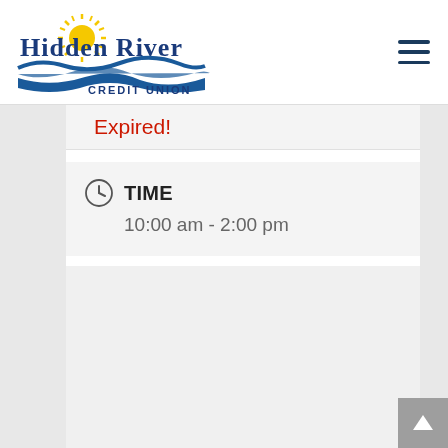[Figure (logo): Hidden River Credit Union logo with sun and water wave graphic in blue and gold]
Expired!
TIME
10:00 am - 2:00 pm